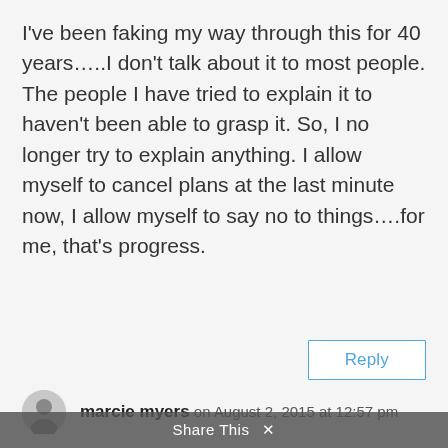I've been faking my way through this for 40 years…..I don't talk about it to most people. The people I have tried to explain it to haven't been able to grasp it. So, I no longer try to explain anything. I allow myself to cancel plans at the last minute now, I allow myself to say no to things….for me, that's progress.
Reply
marcie myers on August 2, 2015 at 12:57 pm
Dear Marsha,
SO well said! The odd occasion when I make it out of my house, I look the picture of health because that's the only times that I can pull it
Share This